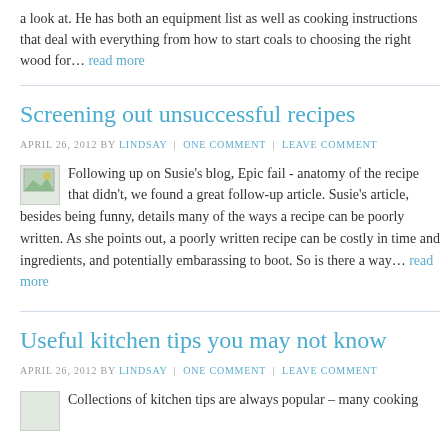a look at. He has both an equipment list as well as cooking instructions that deal with everything from how to start coals to choosing the right wood for… read more
Screening out unsuccessful recipes
APRIL 26, 2012 BY LINDSAY | ONE COMMENT | LEAVE COMMENT
Following up on Susie's blog, Epic fail - anatomy of the recipe that didn't, we found a great follow-up article. Susie's article, besides being funny, details many of the ways a recipe can be poorly written. As she points out, a poorly written recipe can be costly in time and ingredients, and potentially embarassing to boot. So is there a way… read more
Useful kitchen tips you may not know
APRIL 26, 2012 BY LINDSAY | ONE COMMENT | LEAVE COMMENT
Collections of kitchen tips are always popular – many cooking